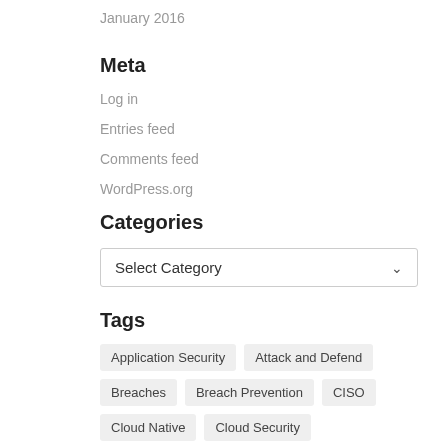January 2016
Meta
Log in
Entries feed
Comments feed
WordPress.org
Categories
Select Category
Tags
Application Security
Attack and Defend
Breaches
Breach Prevention
CISO
Cloud Native
Cloud Security
Container Security
CTF
Cyber Attack
Cyber Attacks
Cyber Security
Cyber Threats
Data Breach
Data Exfiltration
Data Protection
Data Theft